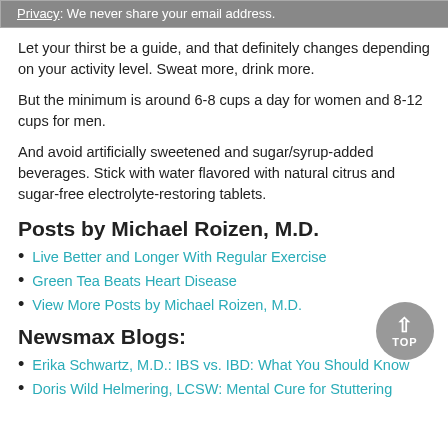Privacy: We never share your email address.
Let your thirst be a guide, and that definitely changes depending on your activity level. Sweat more, drink more.
But the minimum is around 6-8 cups a day for women and 8-12 cups for men.
And avoid artificially sweetened and sugar/syrup-added beverages. Stick with water flavored with natural citrus and sugar-free electrolyte-restoring tablets.
Posts by Michael Roizen, M.D.
Live Better and Longer With Regular Exercise
Green Tea Beats Heart Disease
View More Posts by Michael Roizen, M.D.
Newsmax Blogs:
Erika Schwartz, M.D.: IBS vs. IBD: What You Should Know
Doris Wild Helmering, LCSW: Mental Cure for Stuttering